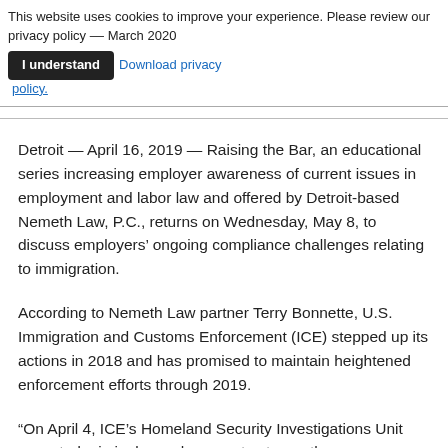This website uses cookies to improve your experience. Please review our privacy policy -- March 2020  [I understand]  Download privacy policy.
Detroit — April 16, 2019 — Raising the Bar, an educational series increasing employer awareness of current issues in employment and labor law and offered by Detroit-based Nemeth Law, P.C., returns on Wednesday, May 8, to discuss employers' ongoing compliance challenges relating to immigration.
According to Nemeth Law partner Terry Bonnette, U.S. Immigration and Customs Enforcement (ICE) stepped up its actions in 2018 and has promised to maintain heightened enforcement efforts through 2019.
“On April 4, ICE’s Homeland Security Investigations Unit executed criminal search warrants at a north